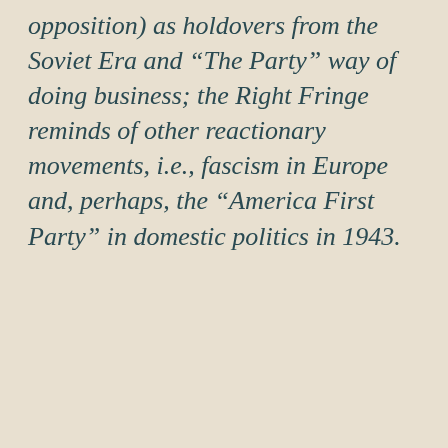opposition) as holdovers from the Soviet Era and “The Party” way of doing business; the Right Fringe reminds of other reactionary movements, i.e., fascism in Europe and, perhaps, the “America First Party” in domestic politics in 1943.
FB – 11/10/2020/0330
Share this:
Facebook  LinkedIn  Pinterest  Reddit  Tumblr  Twitter  Email  Print